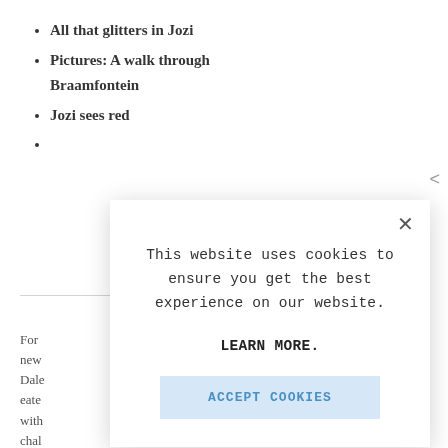All that glitters in Jozi
Pictures: A walk through Braamfontein
Jozi sees red
(partially obscured)
For  new  Dale eate with chal
[Figure (screenshot): Cookie consent modal dialog box with message 'This website uses cookies to ensure you get the best experience on our website.', a LEARN MORE link, an ACCEPT COOKIES button, and a close (X) button in the top right corner.]